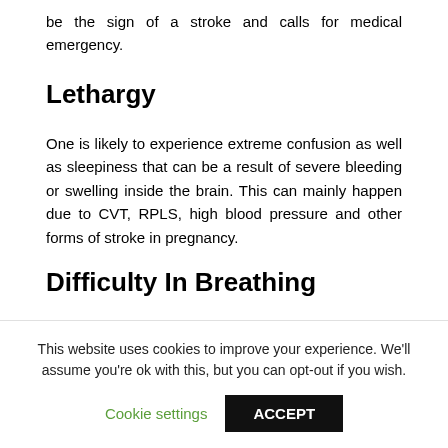be the sign of a stroke and calls for medical emergency.
Lethargy
One is likely to experience extreme confusion as well as sleepiness that can be a result of severe bleeding or swelling inside the brain. This can mainly happen due to CVT, RPLS, high blood pressure and other forms of stroke in pregnancy.
Difficulty In Breathing
Difficulty in breathing can either develop gradually or come on suddenly. There can be a number of conditions that may
This website uses cookies to improve your experience. We'll assume you're ok with this, but you can opt-out if you wish.
Cookie settings   ACCEPT